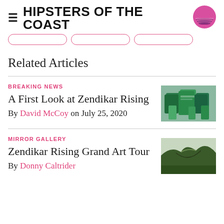HIPSTERS OF THE COAST
Related Articles
BREAKING NEWS
A First Look at Zendikar Rising
By David McCoy on July 25, 2020
[Figure (photo): Zendikar Rising product boxes and booster packs]
MIRROR GALLERY
Zendikar Rising Grand Art Tour
By Donny Caltrider
[Figure (photo): Fantasy landscape art from Zendikar Rising Grand Art Tour]